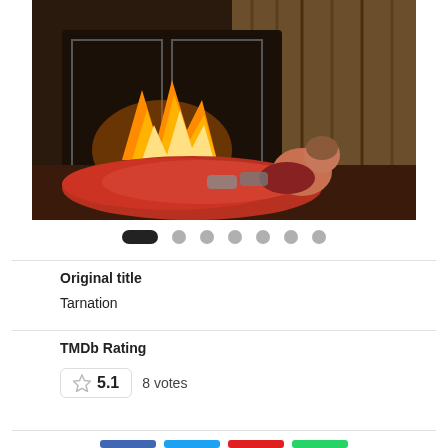[Figure (photo): A person crawling on the ground covered in what appears to be red material, with a fireplace with fire burning in the background and wooden walls.]
Original title
Tarnation
TMDb Rating
5.1   8 votes